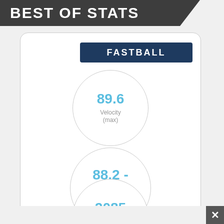BEST OF STATS
FASTBALL
[Figure (infographic): Three circular stat badges showing fastball statistics: 89.6 Velocity (max), 88.2 - 89.6 Velo Range, 2085 Spin Rate (avg)]
89.6
Velocity (max)
88.2 - 89.6
Velo Range
2085
Spin Rate (avg)